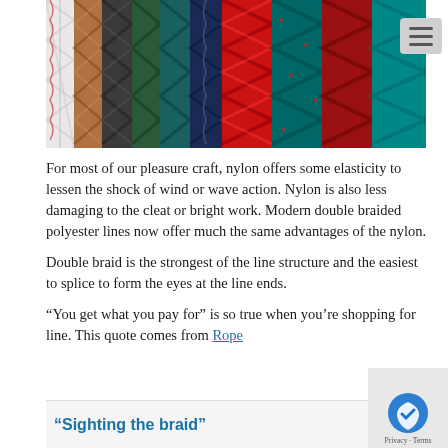[Figure (photo): Close-up photograph of multiple braided ropes side by side showing various colors including white, silver, copper, black, dark green, teal, navy blue, red, and teal with red flecks, arranged vertically in a row against a beige background.]
For most of our pleasure craft, nylon offers some elasticity to lessen the shock of wind or wave action. Nylon is also less damaging to the cleat or bright work. Modern double braided polyester lines now offer much the same advantages of the nylon.
Double braid is the strongest of the line structure and the easiest to splice to form the eyes at the line ends.
“You get what you pay for” is so true when you’re shopping for line. This quote comes from Rope
“Sighting the braid”